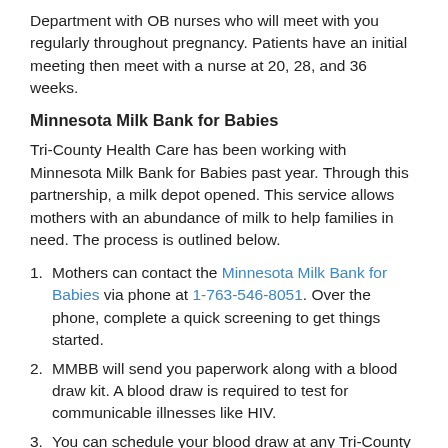Department with OB nurses who will meet with you regularly throughout pregnancy. Patients have an initial meeting then meet with a nurse at 20, 28, and 36 weeks.
Minnesota Milk Bank for Babies
Tri-County Health Care has been working with Minnesota Milk Bank for Babies past year. Through this partnership, a milk depot opened. This service allows mothers with an abundance of milk to help families in need. The process is outlined below.
Mothers can contact the Minnesota Milk Bank for Babies via phone at 1-763-546-8051. Over the phone, complete a quick screening to get things started.
MMBB will send you paperwork along with a blood draw kit. A blood draw is required to test for communicable illnesses like HIV.
You can schedule your blood draw at any Tri-County...